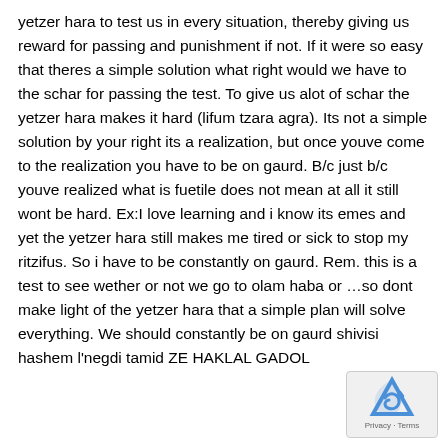yetzer hara to test us in every situation, thereby giving us reward for passing and punishment if not. If it were so easy that theres a simple solution what right would we have to the schar for passing the test. To give us alot of schar the yetzer hara makes it hard (lifum tzara agra). Its not a simple solution by your right its a realization, but once youve come to the realization you have to be on gaurd. B/c just b/c youve realized what is fuetile does not mean at all it still wont be hard. Ex:I love learning and i know its emes and yet the yetzer hara still makes me tired or sick to stop my ritzifus. So i have to be constantly on gaurd. Rem. this is a test to see wether or not we go to olam haba or …so dont make light of the yetzer hara that a simple plan will solve everything. We should constantly be on gaurd shivisi hashem l'negdi tamid ZE HAKLAL GADOL